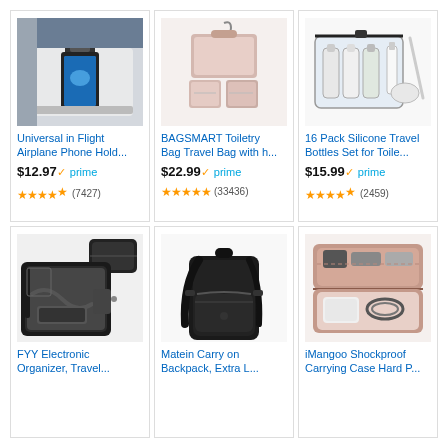[Figure (photo): Phone holder mounted on airplane seat tray]
Universal in Flight Airplane Phone Hold...
$12.97 prime (7427 reviews)
[Figure (photo): Pink hanging toiletry bag unfolded]
BAGSMART Toiletry Bag Travel Bag with h...
$22.99 prime (33436 reviews)
[Figure (photo): 16 pack silicone travel bottles in clear bag]
16 Pack Silicone Travel Bottles Set for Toile...
$15.99 prime (2459 reviews)
[Figure (photo): Black electronics organizer case open showing contents]
FYY Electronic Organizer, Travel...
[Figure (photo): Black carry-on backpack]
Matein Carry on Backpack, Extra L...
[Figure (photo): Rose gold shockproof hard carrying case with electronics inside]
iMangoo Shockproof Carrying Case Hard P...